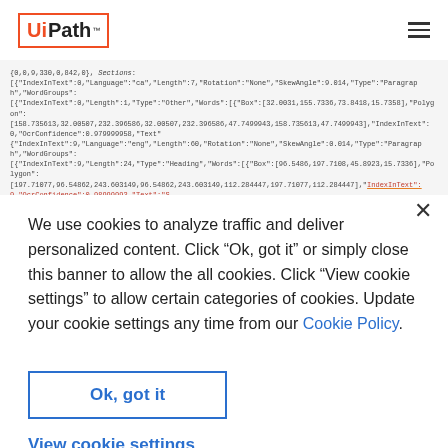UiPath (logo) with hamburger menu
[Figure (screenshot): Background code/JSON text visible behind cookie consent overlay, showing OCR data structures with fields like IndexInText, Language, Length, Rotation, SkewAngle, Type, WordGroups, Box, Polygon, OcrConfidence, Text. Some text highlighted in orange/red underline.]
We use cookies to analyze traffic and deliver personalized content. Click “Ok, got it” or simply close this banner to allow the all cookies. Click "View cookie settings" to allow certain categories of cookies. Update your cookie settings any time from our Cookie Policy.
Ok, got it
View cookie settings